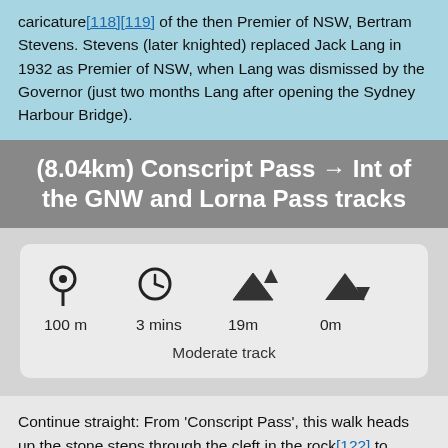caricature[118][119] of the then Premier of NSW, Bertram Stevens. Stevens (later knighted) replaced Jack Lang in 1932 as Premier of NSW, when Lang was dismissed by the Governor (just two months Lang after opening the Sydney Harbour Bridge).
(8.04km) Conscript Pass → Int of the GNW and Lorna Pass tracks
| Distance | Time | Ascent | Descent |
| --- | --- | --- | --- |
| 100 m | 3 mins | 19m | 0m |
Continue straight: From 'Conscript Pass', this walk heads up the stone steps through the cleft in the rock[122] to follow the track and more stone steps uphill for about 100m, coming to a T-intersection with Lorna Pass track, and either GNW or ... [123]